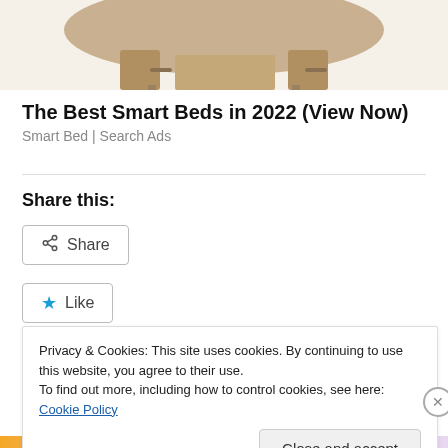[Figure (photo): Partial view of a beige/tan smart bed with storage drawers, cropped at top of page]
The Best Smart Beds in 2022 (View Now)
Smart Bed | Search Ads
Share this:
Share
Like
Be the first to like this.
Privacy & Cookies: This site uses cookies. By continuing to use this website, you agree to their use.
To find out more, including how to control cookies, see here: Cookie Policy
Close and accept